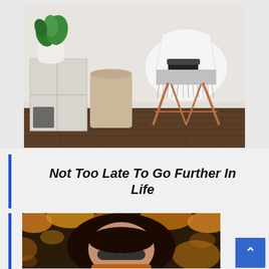[Figure (photo): Interior room scene with white shelf unit, a large tan laundry basket, a green plant on top, a white modern chair with black sneakers resting on a grey fringe blanket, hardwood floor]
Not Too Late To Go Further In Life
[Figure (photo): Close-up of a young woman with long dark hair wearing sunglasses, surrounded by golden/orange foliage]